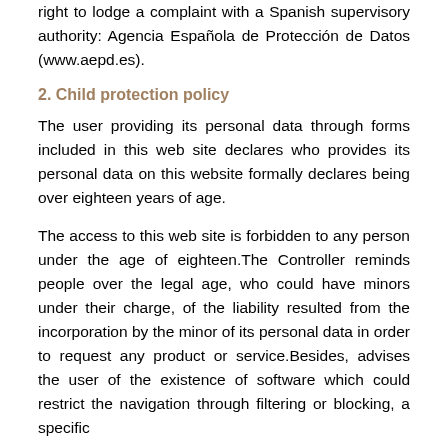right to lodge a complaint with a Spanish supervisory authority: Agencia Española de Protección de Datos (www.aepd.es).
2. Child protection policy
The user providing its personal data through forms included in this web site declares who provides its personal data on this website formally declares being over eighteen years of age.
The access to this web site is forbidden to any person under the age of eighteen.The Controller reminds people over the legal age, who could have minors under their charge, of the liability resulted from the incorporation by the minor of its personal data in order to request any product or service.Besides, advises the user of the existence of software which could restrict the navigation through filtering or blocking, a specific